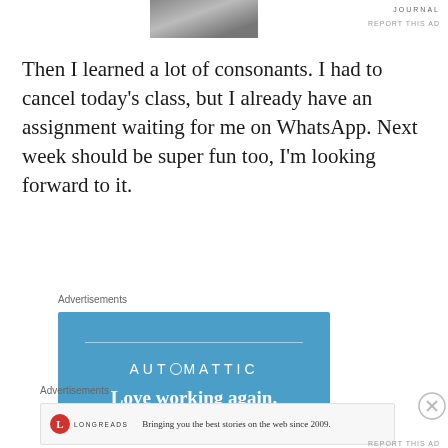[Figure (photo): Partial photo of a person at the top of the page]
JOURNAL
REPORT THIS AD
Then I learned a lot of consonants. I had to cancel today’s class, but I already have an assignment waiting for me on WhatsApp. Next week should be super fun too, I’m looking forward to it.
Advertisements
[Figure (other): Automattic advertisement banner with blue background, showing AUTOMATTIC logo and text 'Love working again.']
Advertisements
[Figure (other): Longreads advertisement: logo and text 'Bringing you the best stories on the web since 2009.']
REPORT THIS AD